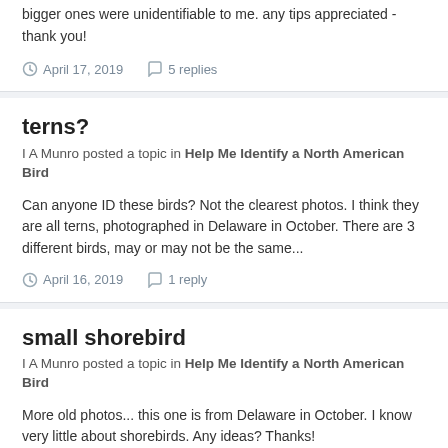bigger ones were unidentifiable to me. any tips appreciated - thank you!
April 17, 2019   5 replies
terns?
I A Munro posted a topic in Help Me Identify a North American Bird
Can anyone ID these birds? Not the clearest photos. I think they are all terns, photographed in Delaware in October. There are 3 different birds, may or may not be the same...
April 16, 2019   1 reply
small shorebird
I A Munro posted a topic in Help Me Identify a North American Bird
More old photos... this one is from Delaware in October. I know very little about shorebirds. Any ideas? Thanks!